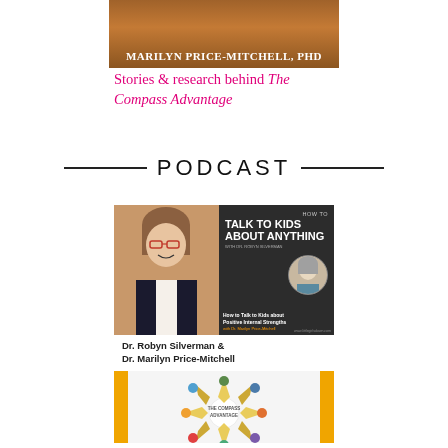[Figure (photo): Top banner image with warm brown/orange tones and the name Marilyn Price-Mitchell, PhD in white uppercase text on a dark overlay]
Stories & research behind The Compass Advantage
PODCAST
[Figure (photo): Podcast cover art for 'How to Talk to Kids About Anything' featuring a smiling woman with glasses and a circular photo of an older woman with short hair. Text reads: How to Talk to Kids about Positive Internal Strengths. Dr. Robyn Silverman & Dr. Marilyn Price-Mitchell. The Compass Advantage logo at bottom with orange side bars.]